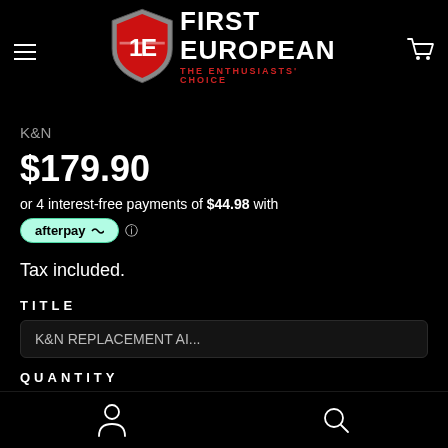[Figure (logo): First European logo — red shield with 1E, white text FIRST EUROPEAN, red tagline THE ENTHUSIASTS' CHOICE]
K&N
$179.90
or 4 interest-free payments of $44.98 with
[Figure (logo): Afterpay logo badge in mint/teal color]
Tax included.
TITLE
K&N REPLACEMENT AI...
QUANTITY